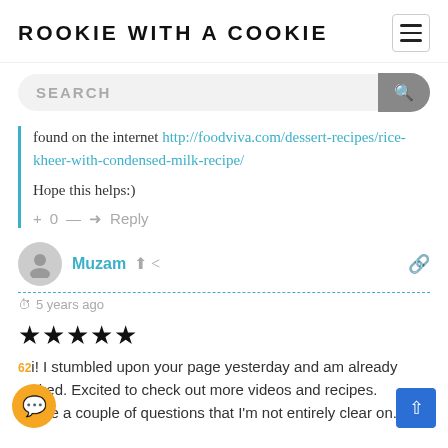ROOKIE WITH A COOKIE
found on the internet http://foodviva.com/dessert-recipes/rice-kheer-with-condensed-milk-recipe/
Hope this helps:)
+ 0 — Reply
Muzam  5 years ago
★★★★★
Hi! I stumbled upon your page yesterday and am already hooked. Excited to check out more videos and recipes. I have a couple of questions that I'm not entirely clear on.